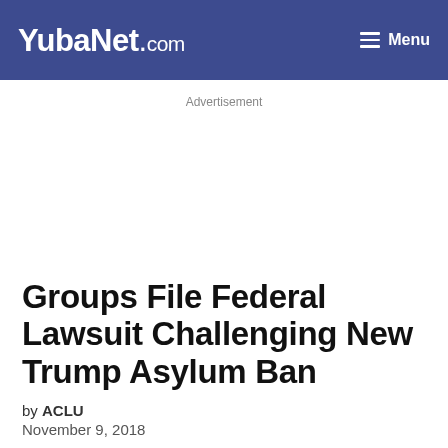YubaNet.com | Menu
Advertisement
Groups File Federal Lawsuit Challenging New Trump Asylum Ban
by ACLU
November 9, 2018